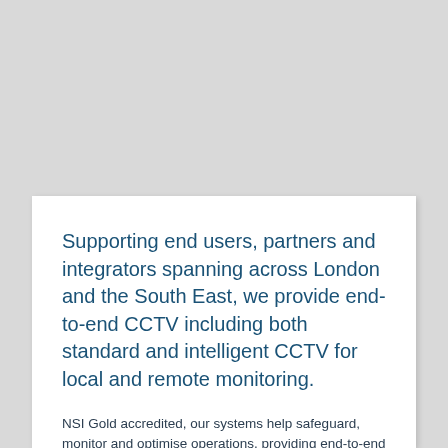Supporting end users, partners and integrators spanning across London and the South East, we provide end-to-end CCTV including both standard and intelligent CCTV for local and remote monitoring.
NSI Gold accredited, our systems help safeguard, monitor and optimise operations, providing end-to-end systems that are in use across a number of sectors for public, private and commercial clients.